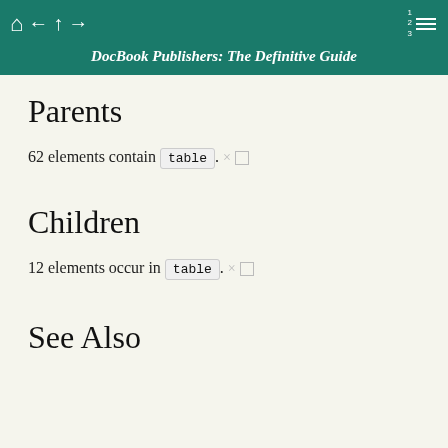DocBook Publishers: The Definitive Guide
Parents
62 elements contain table. × □
Children
12 elements occur in table. × □
See Also